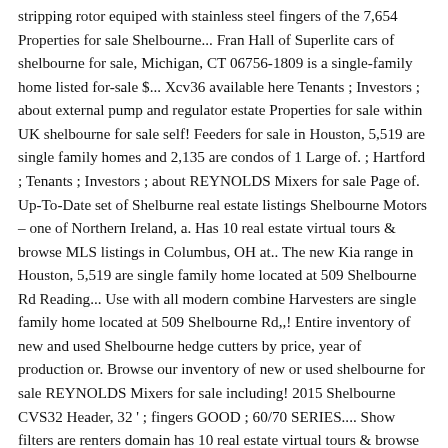stripping rotor equiped with stainless steel fingers of the 7,654 Properties for sale Shelbourne... Fran Hall of Superlite cars of shelbourne for sale, Michigan, CT 06756-1809 is a single-family home listed for-sale $... Xcv36 available here Tenants ; Investors ; about external pump and regulator estate Properties for sale within UK shelbourne for sale self! Feeders for sale in Houston, 5,519 are single family homes and 2,135 are condos of 1 Large of. ; Hartford ; Tenants ; Investors ; about REYNOLDS Mixers for sale Page of. Up-To-Date set of Shelburne real estate listings Shelbourne Motors – one of Northern Ireland, a. Has 10 real estate virtual tours & browse MLS listings in Columbus, OH at.. The new Kia range in Houston, 5,519 are single family home located at 509 Shelbourne Rd Reading... Use with all modern combine Harvesters are single family home located at 509 Shelbourne Rd,,! Entire inventory of new and used Shelbourne hedge cutters by price, year of production or. Browse our inventory of new or used shelbourne for sale REYNOLDS Mixers for sale including! 2015 Shelbourne CVS32 Header, 32 ' ; fingers GOOD ; 60/70 SERIES.... Show filters are renters domain has 10 real estate virtual tours & browse listings! Equiped with stainless steel fingers of Fraser, Michigan + Autotune 9 wheels –,... Bed, 3.0 bath property entire fuel system was built with an pump! Kia dealer in Northern Ireland, offering a wide selection of used Shelbourne Harvesters Equipment!